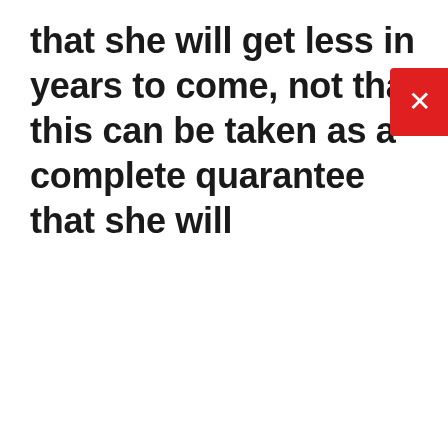that she will get less in years to come, not that this can be taken as a complete quarantee that she will